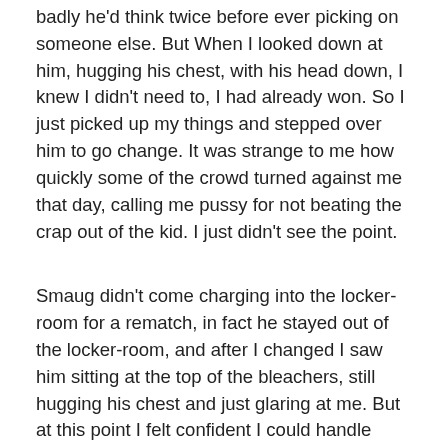badly he'd think twice before ever picking on someone else. But When I looked down at him, hugging his chest, with his head down, I knew I didn't need to, I had already won. So I just picked up my things and stepped over him to go change. It was strange to me how quickly some of the crowd turned against me that day, calling me pussy for not beating the crap out of the kid. I just didn't see the point.
Smaug didn't come charging into the locker-room for a rematch, in fact he stayed out of the locker-room, and after I changed I saw him sitting at the top of the bleachers, still hugging his chest and just glaring at me. But at this point I felt confident I could handle myself if he came at me again, but just to be safe, I kept a watchful eye on him